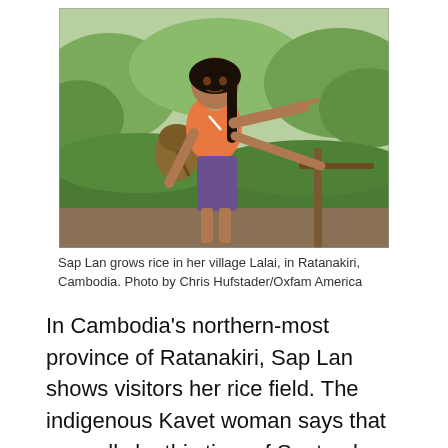[Figure (photo): A woman (Sap Lan) wearing an orange top and carrying a basket on her back, pointing with her right arm extended, standing in a green outdoor setting in Ratanakiri, Cambodia.]
Sap Lan grows rice in her village Lalai, in Ratanakiri, Cambodia. Photo by Chris Hufstader/Oxfam America
In Cambodia's northern-most province of Ratanakiri, Sap Lan shows visitors her rice field. The indigenous Kavet woman says that normally by this time of September the plants are up to her waist. Late rainfall this year means her rice plants barely reach her ankle. She is counting on harvesting wild fruits and vegetables from the surrounding forest for food and to earn money to